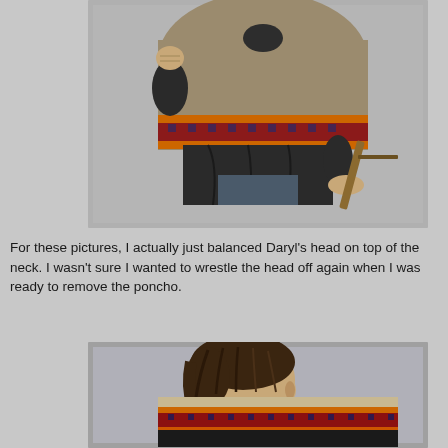[Figure (photo): Close-up photo of a Daryl Dixon action figure torso wearing a poncho with colorful stripe pattern (orange, red, dark blue geometric), with leather jacket visible underneath. No head visible — figure is headless in this shot. Light gray background.]
For these pictures, I actually just balanced Daryl's head on top of the neck.  I wasn't sure I wanted to wrestle the head off again when I was ready to remove the poncho.
[Figure (photo): Close-up photo of the back/side of the same Daryl Dixon action figure now with head placed on top, showing dark brown hair detail. The colorful poncho with orange, red, and black stripe pattern is draped over the figure's back. Light gray background.]